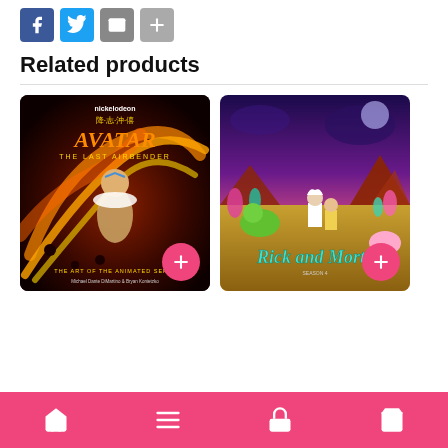[Figure (infographic): Social share buttons: Facebook (blue), Twitter (blue), Email (grey), Share/Plus (grey)]
Related products
[Figure (illustration): Avatar: The Last Airbender - The Art of the Animated Series book cover, showing Aang surrounded by fire swirls on a dark red background with Nickelodeon branding]
[Figure (illustration): Rick and Morty book cover showing Rick and Morty in a colorful alien landscape with purple sky and mountains]